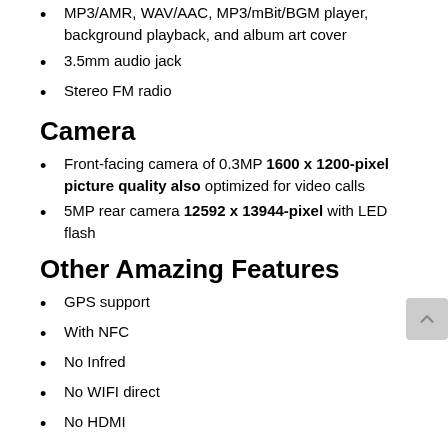MP3/AMR, WAV/AAC, MP3/mBit/BGM player, background playback, and album art cover
3.5mm audio jack
Stereo FM radio
Camera
Front-facing camera of 0.3MP 1600 x 1200-pixel picture quality also optimized for video calls
5MP rear camera 12592 x 13944-pixel with LED flash
Other Amazing Features
GPS support
With NFC
No Infred
No WIFI direct
No HDMI
No MHL
4G network
Java Support
A-GPS Navigation
WIFI Hotspot
Calculator
calender